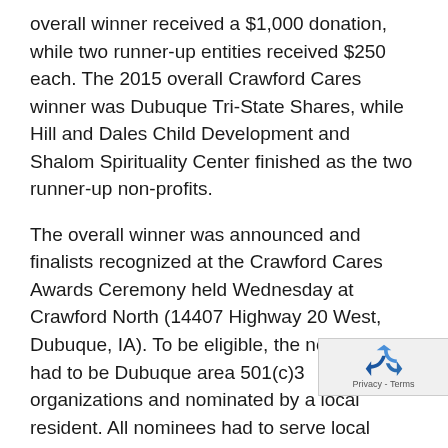overall winner received a $1,000 donation, while two runner-up entities received $250 each. The 2015 overall Crawford Cares winner was Dubuque Tri-State Shares, while Hill and Dales Child Development and Shalom Spirituality Center finished as the two runner-up non-profits.
The overall winner was announced and finalists recognized at the Crawford Cares Awards Ceremony held Wednesday at Crawford North (14407 Highway 20 West, Dubuque, IA). To be eligible, the nominees had to be Dubuque area 501(c)3 organizations and nominated by a local resident. All nominees had to serve local causes for the purpose of having a positive impact on the region. The organizations were also required to demonstrate they were mission-focused and operating on limited resources.
“Crawford continues to build on the commitments we make to the communities we serve,” said Ian Frink, Vice
[Figure (other): reCAPTCHA widget with recycling arrows icon and 'Privacy - Terms' text]